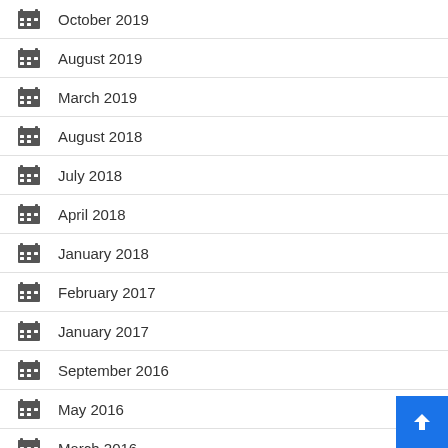October 2019
August 2019
March 2019
August 2018
July 2018
April 2018
January 2018
February 2017
January 2017
September 2016
May 2016
March 2016
February 2016